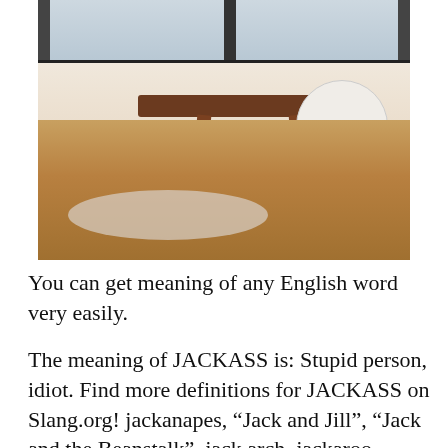[Figure (photo): Interior photo of a dining area with a wooden table, white modern chairs (Eames-style), hardwood floors, a baseboard heater along the wall, and a window in the background.]
You can get meaning of any English word very easily.
The meaning of JACKASS is: Stupid person, idiot. Find more definitions for JACKASS on Slang.org! jackanapes, “Jack and Jill”, “Jack and the Beanstalk”, jack arch, jackaroo, jackass, jackass bark, jackass brig, jackass gunter, jackass penguin